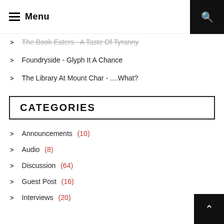Menu
The Book Eaters - A Taste Of Tyranny
Foundryside - Glyph It A Chance
The Library At Mount Char - ....What?
CATEGORIES
Announcements (10)
Audio (8)
Discussion (64)
Guest Post (16)
Interviews (20)